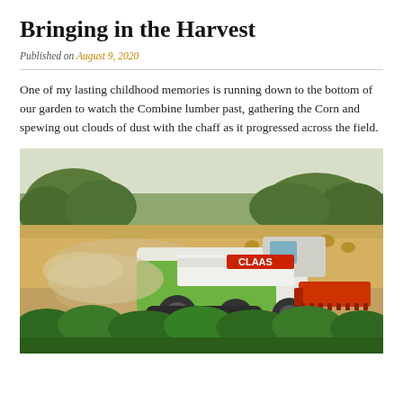Bringing in the Harvest
Published on August 9, 2020
One of my lasting childhood memories is running down to the bottom of our garden to watch the Combine lumber past, gathering the Corn and spewing out clouds of dust with the chaff as it progressed across the field.
[Figure (photo): A CLAAS combine harvester working in a golden field, kicking up dust and chaff, with hay bales and trees in the background and a green hedge in the foreground.]